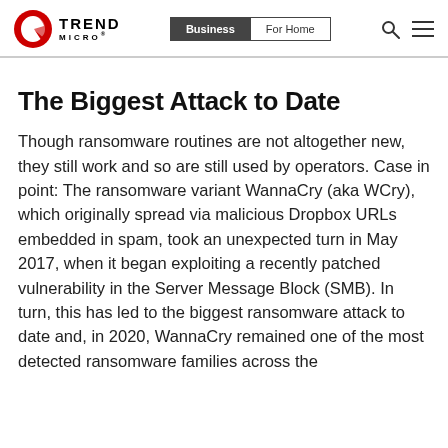Trend Micro | Business | For Home
The Biggest Attack to Date
Though ransomware routines are not altogether new, they still work and so are still used by operators. Case in point: The ransomware variant WannaCry (aka WCry), which originally spread via malicious Dropbox URLs embedded in spam, took an unexpected turn in May 2017, when it began exploiting a recently patched vulnerability in the Server Message Block (SMB). In turn, this has led to the biggest ransomware attack to date and, in 2020, WannaCry remained one of the most detected ransomware families across the